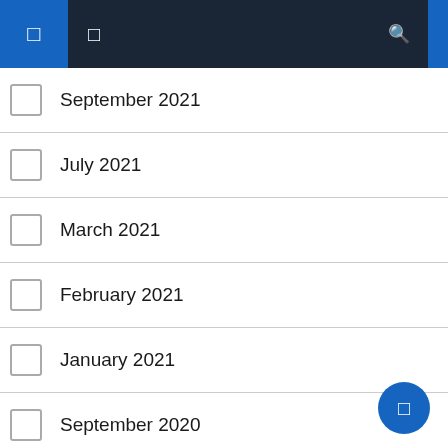Navigation bar with menu and search icons
September 2021
July 2021
March 2021
February 2021
January 2021
September 2020
June 2019
April 2019
March 2017